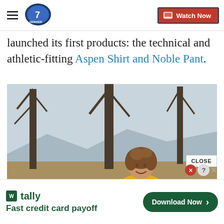Denver7 — Watch Now
launched its first products: the technical and athletic-fitting Aspen Shirt and Noble Pant.
[Figure (photo): A smiling woman with curly hair wearing a yellow top, standing outdoors in front of bare trees with a blurred landscape background.]
tally — Fast credit card payoff — Download Now